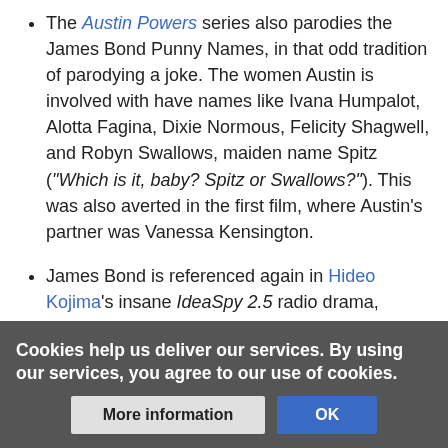The Austin Powers series also parodies the James Bond Punny Names, in that odd tradition of parodying a joke. The women Austin is involved with have names like Ivana Humpalot, Alotta Fagina, Dixie Normous, Felicity Shagwell, and Robyn Swallows, maiden name Spitz ("Which is it, baby? Spitz or Swallows?"). This was also averted in the first film, where Austin's partner was Vanessa Kensington.
James Bond is referenced again in Hideo Kojima's insane IdeaSpy 2.5 radio drama, where the spy's old flame has the name Call Now.
The I Know What You Did Last Summer movies had a character called Will Benson, who near the end of the second movie reveals that he's the son of the killer.... "Will, Ben's son!" he exclaims.
Not only [is] Ben Willis.
Cookies help us deliver our services. By using our services, you agree to our use of cookies.